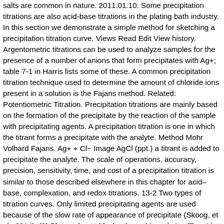salts are common in nature. 2011.01.10. Some precipitation titrations are also acid-base titrations in the plating bath industry. In this section we demonstrate a simple method for sketching a precipitation titration curve. Views Read Edit View history. Argentometric titrations can be used to analyze samples for the presence of a number of anions that form precipitates with Ag+; table 7-1 in Harris lists some of these. A common precipitation titration technique used to determine the amount of chloride ions present in a solution is the Fajans method. Related: Potentiometric Titration. Precipitation titrations are mainly based on the formation of the precipitate by the reaction of the sample with precipitating agents. A precipitation titration is one in which the titrant forms a precipitate with the analyte. Method Mohr Volhard Fajans. Ag+ + Cl− Image AgCl (ppt.) a titrant is added to precipitate the analyte. The scale of operations, accuracy, precision, sensitivity, time, and cost of a precipitation titration is similar to those described elsewhere in this chapter for acid–base, complexation, and redox titrations. 13-2 Two types of titration curves. Only limited precipitating agents are used because of the slow rate of appearance of precipitate (Skoog, et al., 2014). (3) Please do not block ads on this website. The pH also must be less than 10 to avoid the precipitation of silver hydroxide. Precipitation Titration Curves. The most frequent use of precipitation